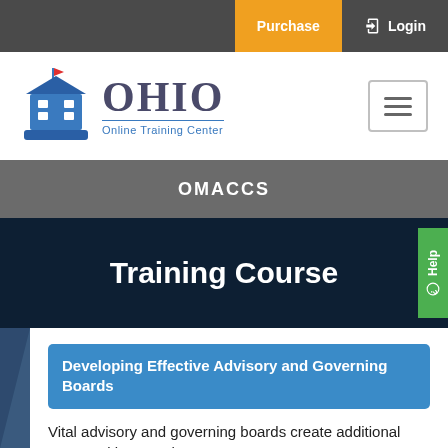Purchase  Login
[Figure (logo): Ohio Online Training Center logo with ship/building icon and text OHIO Online Training Center]
OMACCS
Training Course
Developing Effective Advisory and Governing Boards
Vital advisory and governing boards create additional opportunities to enhance